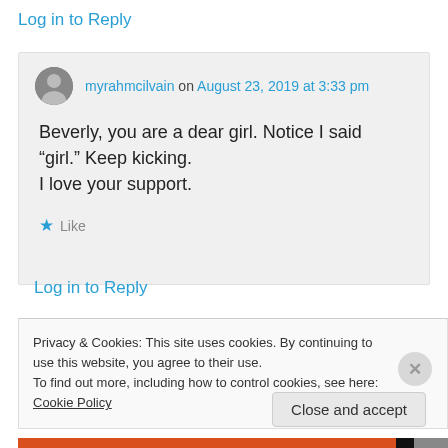Log in to Reply
myrahmcilvain on August 23, 2019 at 3:33 pm
Beverly, you are a dear girl. Notice I said “girl.” Keep kicking.
I love your support.
★ Like
Log in to Reply
Privacy & Cookies: This site uses cookies. By continuing to use this website, you agree to their use.
To find out more, including how to control cookies, see here: Cookie Policy
Close and accept